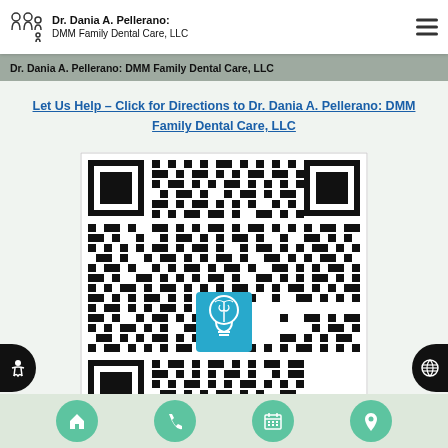Dr. Dania A. Pellerano: DMM Family Dental Care, LLC
Dr. Dania A. Pellerano: DMM Family Dental Care, LLC
Let Us Help – Click for Directions to Dr. Dania A. Pellerano: DMM Family Dental Care, LLC
[Figure (other): QR code with a blue light bulb / dental caduceus icon in the center, linking to directions for Dr. Dania A. Pellerano: DMM Family Dental Care, LLC]
[Figure (other): Bottom navigation bar with four teal circular icon buttons: home, phone, calendar, and location pin]